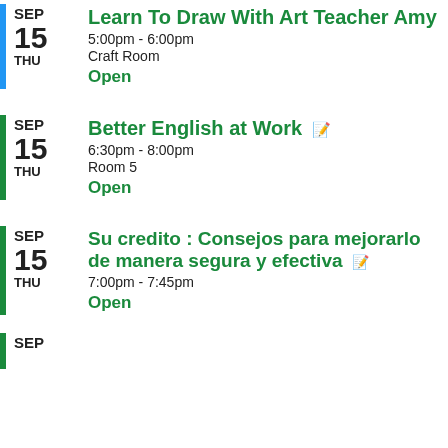SEP 15 THU | Learn To Draw With Art Teacher Amy | 5:00pm - 6:00pm | Craft Room | Open
SEP 15 THU | Better English at Work | 6:30pm - 8:00pm | Room 5 | Open
SEP 15 THU | Su credito : Consejos para mejorarlo de manera segura y efectiva | 7:00pm - 7:45pm | Open
SEP ...